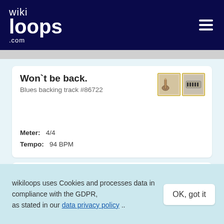wikiloops.com
Won't be back.
Blues backing track #86722
Meter: 4/4
Tempo: 94 BPM
House of the Rising Sun
Blues backing track #13386
wikiloops uses Cookies and processes data in compliance with the GDPR, as stated in our data privacy policy ..